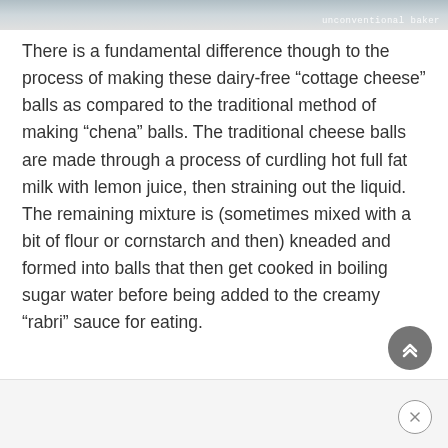[Figure (photo): Partial photo of dairy-free cottage cheese balls dish with watermark 'unconventional baker' in top right corner]
There is a fundamental difference though to the process of making these dairy-free “cottage cheese” balls as compared to the traditional method of making “chena” balls. The traditional cheese balls are made through a process of curdling hot full fat milk with lemon juice, then straining out the liquid. The remaining mixture is (sometimes mixed with a bit of flour or cornstarch and then) kneaded and formed into balls that then get cooked in boiling sugar water before being added to the creamy “rabri” sauce for eating.